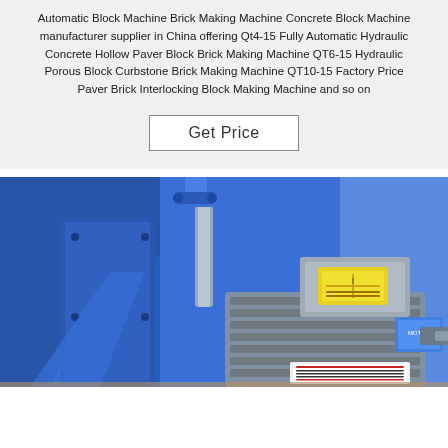Automatic Block Machine Brick Making Machine Concrete Block Machine manufacturer supplier in China offering Qt4-15 Fully Automatic Hydraulic Concrete Hollow Paver Block Brick Making Machine QT6-15 Hydraulic Porous Block Curbstone Brick Making Machine QT10-15 Factory Price Paver Brick Interlocking Block Making Machine and so on
Get Price
[Figure (photo): Close-up photo of industrial electric motor and hydraulic components on a blue brick/block making machine. The motor is grey with a yellow warning label on top and a white specification plate. Blue painted metal frame and hydraulic cylinder rod visible in background.]